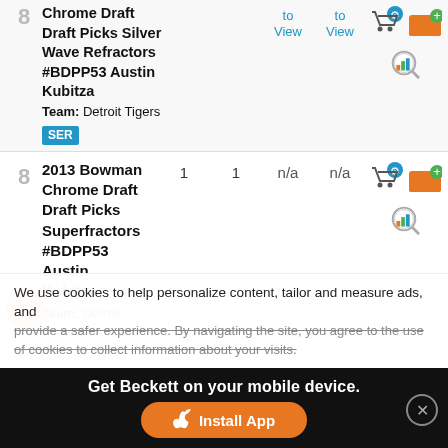| # | Card | Qty | For Sale | Low | High | Actions |
| --- | --- | --- | --- | --- | --- | --- |
| 8 | 2013 Bowman Chrome Draft Draft Picks Silver Wave Refractors #BDPP53 Austin Kubitza
Team: Detroit Tigers [SER] |  |  | to View | to View | cart/folder/search icons |
| 8 | 2013 Bowman Chrome Draft Draft Picks Superfractors #BDPP53 Austin Kubitza
Team: Detroit Tigers | 1 | 1 | n/a | n/a | cart/folder/search icons |
We use cookies to help personalize content, tailor and measure ads, and provide a safer experience. By navigating the site, you agree to the use of cookies to collect information about your visits.
Get Beckett on your mobile device.
Install App